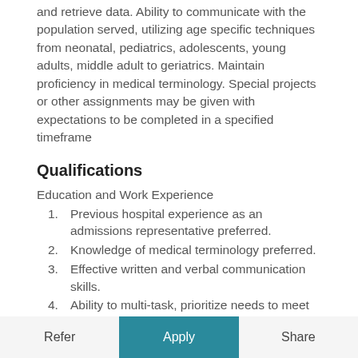and retrieve data. Ability to communicate with the population served, utilizing age specific techniques from neonatal, pediatrics, adolescents, young adults, middle adult to geriatrics. Maintain proficiency in medical terminology. Special projects or other assignments may be given with expectations to be completed in a specified timeframe
Qualifications
Education and Work Experience
Previous hospital experience as an admissions representative preferred.
Knowledge of medical terminology preferred.
Effective written and verbal communication skills.
Ability to multi-task, prioritize needs to meet required timelines.
Analytical and problem-solving skills.
Customer Services experience required.
High School Graduate or GED Equivalent Required (effective 4/1/14 for all new hires).
Refer | Apply | Share